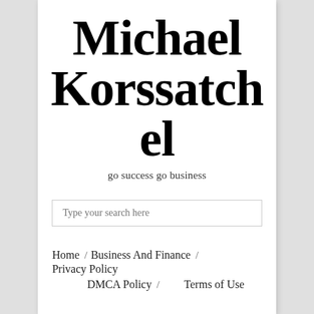Michael Korssatchel
go success go business
Type your search here
Home / Business And Finance /
Privacy Policy
DMCA Policy / Terms of Use